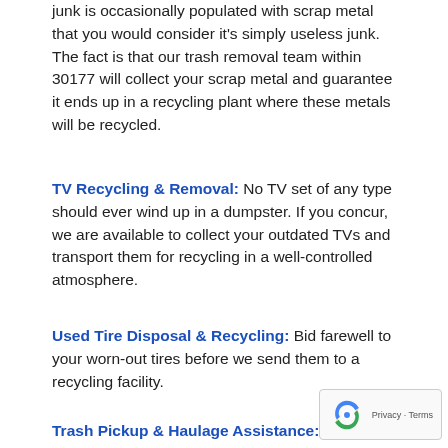junk is occasionally populated with scrap metal that you would consider it's simply useless junk. The fact is that our trash removal team within 30177 will collect your scrap metal and guarantee it ends up in a recycling plant where these metals will be recycled.
TV Recycling & Removal: No TV set of any type should ever wind up in a dumpster. If you concur, we are available to collect your outdated TVs and transport them for recycling in a well-controlled atmosphere.
Used Tire Disposal & Recycling: Bid farewell to your worn-out tires before we send them to a recycling facility.
Trash Pickup & Haulage Assistance: So long as you have debris for pick up, we can avail you of the service with no questions asked.